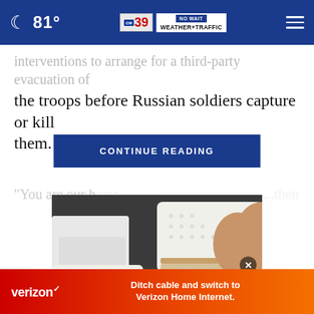81° | CW39 NO WAIT WEATHER+TRAFFIC
interventions to arrange for a third-party evacuation of the troops before Russian soldiers capture or kill them.
CONTINUE READING
"You are our hope... ...their
[Figure (photo): Close-up photo of a person wearing white pants and white perforated slip-on espadrille shoes with tan/brown trim and beige rope soles, standing on a dark surface.]
Ditch cable and switch to Verizon Home Internet.